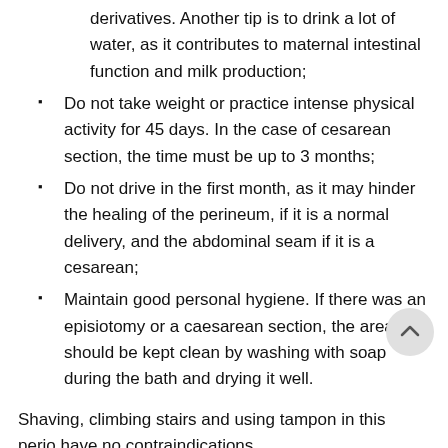derivatives. Another tip is to drink a lot of water, as it contributes to maternal intestinal function and milk production;
Do not take weight or practice intense physical activity for 45 days. In the case of cesarean section, the time must be up to 3 months;
Do not drive in the first month, as it may hinder the healing of the perineum, if it is a normal delivery, and the abdominal seam if it is a cesarean;
Maintain good personal hygiene. If there was an episiotomy or a caesarean section, the area should be kept clean by washing with soap during the bath and drying it well.
Shaving, climbing stairs and using tampon in this period have no contraindications.
Complications